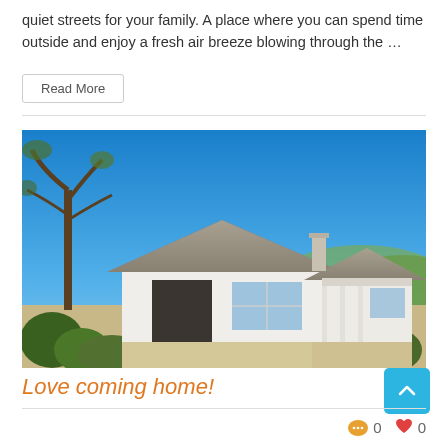quiet streets for your family. A place where you can spend time outside and enjoy a fresh air breeze blowing through the …
Read More
[Figure (photo): Exterior photo of a single-storey white rendered house with a grey tiled roof and chimney, surrounded by natural bush vegetation under a bright blue sky.]
Love coming home!
0  0